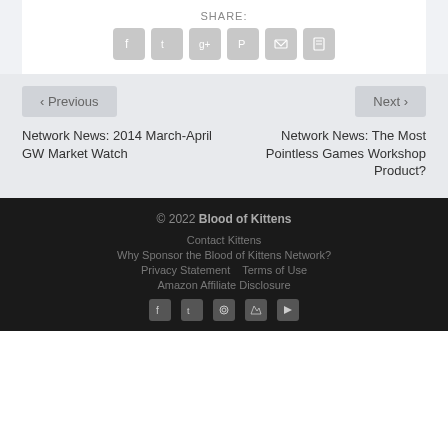SHARE:
[Figure (other): Social share icon buttons: Facebook, Twitter, Google+, Pinterest, Email, Print]
< Previous
Next >
Network News: 2014 March-April GW Market Watch
Network News: The Most Pointless Games Workshop Product?
© 2022 Blood of Kittens
Contact Kittens
Why Sponsor the Blood of Kittens Network?
Privacy Statement   Terms of Use
Amazon Affiliate Disclosure